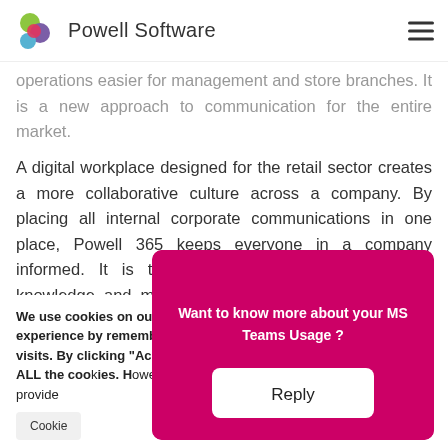Powell Software
operations easier for management and store branches. It is a new approach to communication for the entire market.
A digital workplace designed for the retail sector creates a more collaborative culture across a company. By placing all internal corporate communications in one place, Powell 365 keeps everyone in a company informed. It is the best way to spread company knowledge and maintain corporate coherence at both local and global levels. Thanks to Powell
We use cookies on our website to give you the most relevant experience by remembering your preferences and repeat visits. By clicking "Accept All", you consent to the use of ALL the cookies. However, you may visit "Cookie Settings" to provide a controlled consent.
Want to know more about your MS Teams Usage ?
Reply